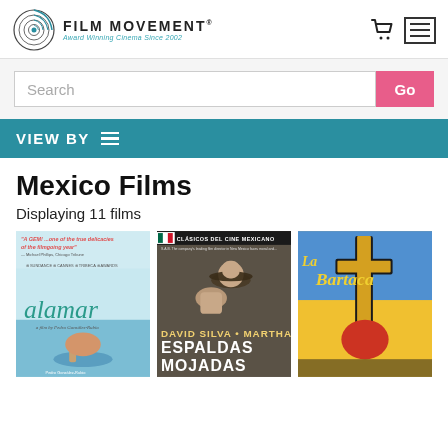FILM MOVEMENT — Award Winning Cinema Since 2002
Search
VIEW BY ≡
Mexico Films
Displaying 11 films
[Figure (photo): Film poster for 'alamar' — a film by Pedro González-Rubio. Text reads: 'A GEM! ...one of the true delicacies of the filmgoing year']
[Figure (photo): Film poster for 'Espaldas Mojadas' — black and white classic Mexican cinema. Clásicos del Cine Mexicano. Starring David Silva and Martha Valdés.]
[Figure (photo): Film poster for 'La Bartaca' — colorful illustrated poster with cross motif.]